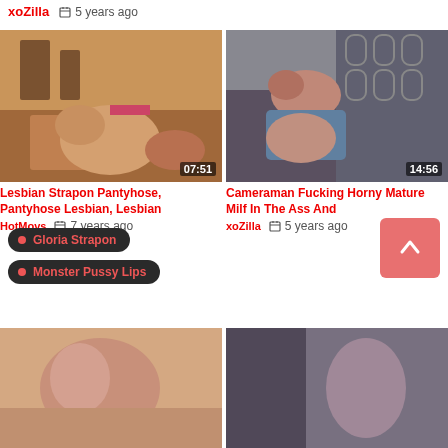xoZilla   5 years ago
[Figure (photo): Video thumbnail: two women, indoor scene, duration 07:51]
Lesbian Strapon Pantyhose, Pantyhose Lesbian, Lesbian
HotMovs   7 years ago
[Figure (photo): Video thumbnail: woman, close up, duration 14:56]
Cameraman Fucking Horny Mature Milf In The Ass And
xoZilla   5 years ago
Gloria Strapon
Monster Pussy Lips
[Figure (photo): Video thumbnail bottom left, partial]
[Figure (photo): Video thumbnail bottom right, partial]